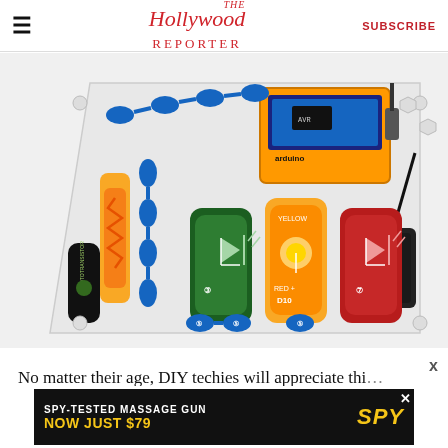☰  The Hollywood Reporter  SUBSCRIBE
[Figure (photo): An electronics snap circuits kit with an Arduino board, LED components (green, yellow, red), phototransistor, and battery holder mounted on a clear acrylic base with colorful circuit connectors.]
No matter their age, DIY techies will appreciate thi…
[Figure (other): Advertisement banner: SPY-TESTED MASSAGE GUN NOW JUST $79 with SPY logo in yellow on black background]